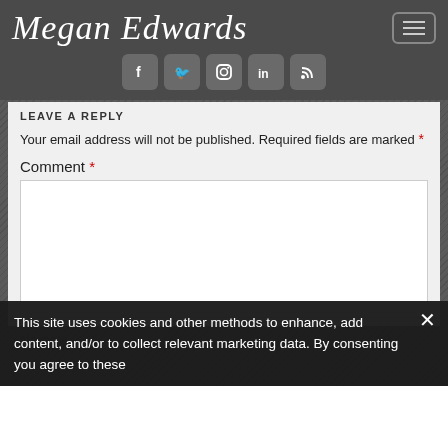Megan Edwards
[Figure (logo): Megan Edwards script logo in white on dark grey background with social icons: Facebook, Twitter, Instagram, LinkedIn, RSS]
LEAVE A REPLY
Your email address will not be published. Required fields are marked *
Comment *
This site uses cookies and other methods to enhance, add content, and/or to collect relevant marketing data. By consenting you agree to these
Name *